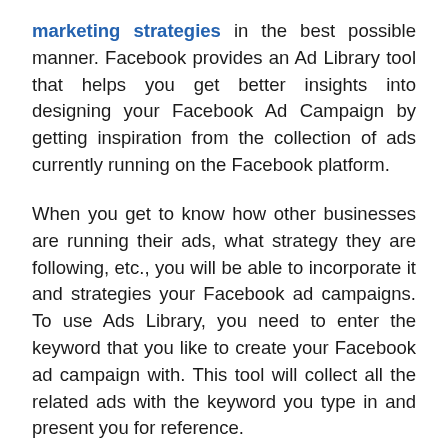marketing strategies in the best possible manner. Facebook provides an Ad Library tool that helps you get better insights into designing your Facebook Ad Campaign by getting inspiration from the collection of ads currently running on the Facebook platform.
When you get to know how other businesses are running their ads, what strategy they are following, etc., you will be able to incorporate it and strategies your Facebook ad campaigns. To use Ads Library, you need to enter the keyword that you like to create your Facebook ad campaign with. This tool will collect all the related ads with the keyword you type in and present you for reference.
You can then check how other businesses are